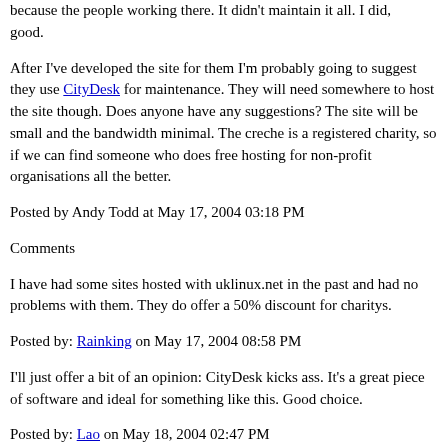because the people working there. It didn't maintain it all. I did, good.
After I've developed the site for them I'm probably going to suggest they use CityDesk for maintenance. They will need somewhere to host the site though. Does anyone have any suggestions? The site will be small and the bandwidth minimal. The creche is a registered charity, so if we can find someone who does free hosting for non-profit organisations all the better.
Posted by Andy Todd at May 17, 2004 03:18 PM
Comments
I have had some sites hosted with uklinux.net in the past and had no problems with them. They do offer a 50% discount for charitys.
Posted by: Rainking on May 17, 2004 08:58 PM
I'll just offer a bit of an opinion: CityDesk kicks ass. It's a great piece of software and ideal for something like this. Good choice.
Posted by: Lao on May 18, 2004 02:47 PM
Advertisements